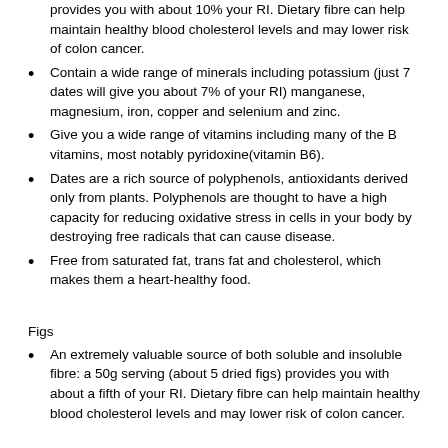provides you with about 10% your RI. Dietary fibre can help maintain healthy blood cholesterol levels and may lower risk of colon cancer.
Contain a wide range of minerals including potassium (just 7 dates will give you about 7% of your RI) manganese, magnesium, iron, copper and selenium and zinc.
Give you a wide range of vitamins including many of the B vitamins, most notably pyridoxine(vitamin B6).
Dates are a rich source of polyphenols, antioxidants derived only from plants. Polyphenols are thought to have a high capacity for reducing oxidative stress in cells in your body by destroying free radicals that can cause disease.
Free from saturated fat, trans fat and cholesterol, which makes them a heart-healthy food.
Figs
An extremely valuable source of both soluble and insoluble fibre: a 50g serving (about 5 dried figs) provides you with about a fifth of your RI. Dietary fibre can help maintain healthy blood cholesterol levels and may lower risk of colon cancer.